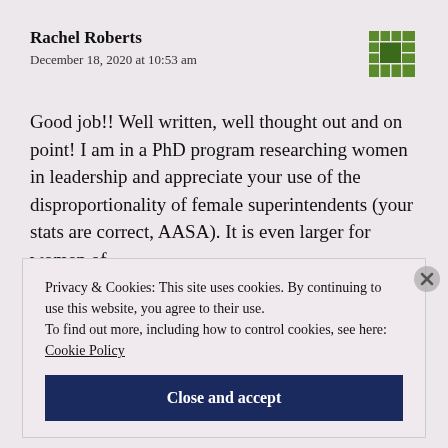Rachel Roberts
December 18, 2020 at 10:53 am
Good job!! Well written, well thought out and on point! I am in a PhD program researching women in leadership and appreciate your use of the disproportionality of female superintendents (your stats are correct, AASA). It is even larger for women of
Privacy & Cookies: This site uses cookies. By continuing to use this website, you agree to their use.
To find out more, including how to control cookies, see here: Cookie Policy
Close and accept